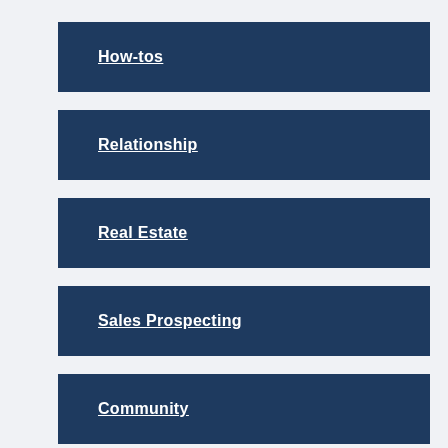How-tos
Relationship
Real Estate
Sales Prospecting
Community